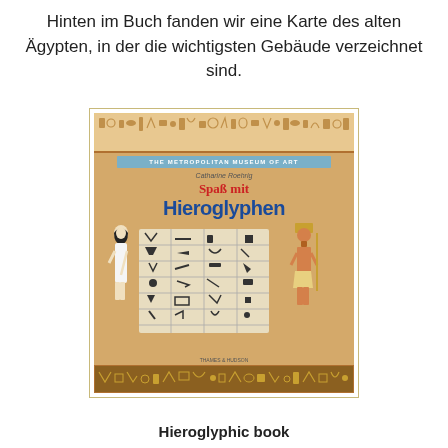Hinten im Buch fanden wir eine Karte des alten Ägypten, in der die wichtigsten Gebäude verzeichnet sind.
[Figure (photo): Photo of a book cover: 'Spaß mit Hieroglyphen' by Catharine Roehrig, published by The Metropolitan Museum of Art. Cover shows two Egyptian figures flanking a hieroglyph table, with decorative hieroglyph borders at top and bottom.]
Hieroglyphic book